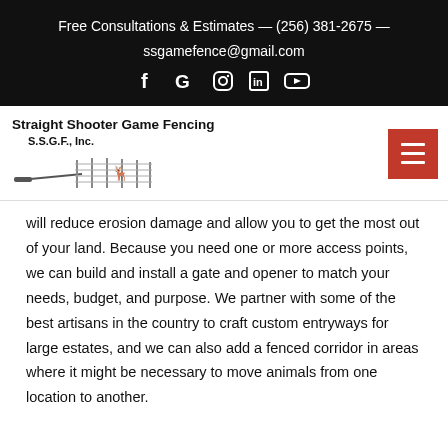Free Consultations & Estimates — (256) 381-2675 — ssgamefence@gmail.com
[Figure (logo): Straight Shooter Game Fencing S.S.G.F., Inc. logo with fence and deer illustration]
will reduce erosion damage and allow you to get the most out of your land. Because you need one or more access points, we can build and install a gate and opener to match your needs, budget, and purpose. We partner with some of the best artisans in the country to craft custom entryways for large estates, and we can also add a fenced corridor in areas where it might be necessary to move animals from one location to another.